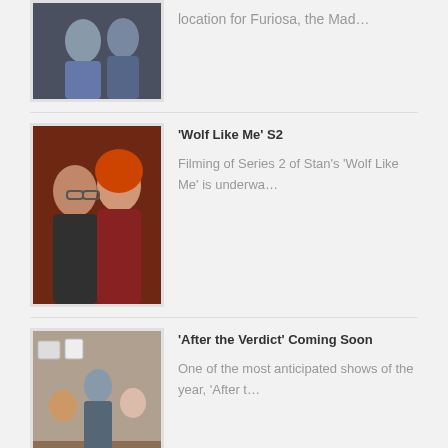[Figure (photo): Partial photo of people at an event, top cropped]
location for Furiosa, the Mad…
[Figure (photo): Two people close together, woman with red hair]
'Wolf Like Me' S2
Filming of Series 2 of Stan's 'Wolf Like Me' is underwa…
[Figure (photo): People seated around a conference table in a room]
'After the Verdict' Coming Soon
One of the most anticipated shows of the year, 'After t…
PRODUCTIONS
A Current Affair
Alien
Alien Covenant
Allianz
ANZ